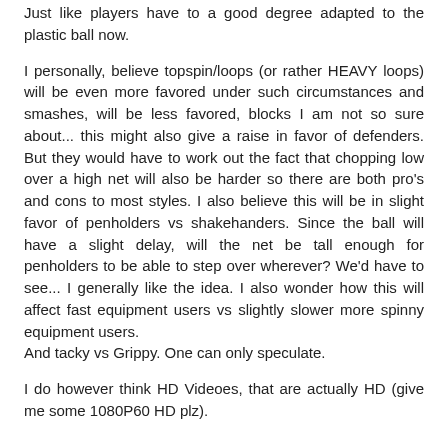Just like players have to a good degree adapted to the plastic ball now.
I personally, believe topspin/loops (or rather HEAVY loops) will be even more favored under such circumstances and smashes, will be less favored, blocks I am not so sure about... this might also give a raise in favor of defenders. But they would have to work out the fact that chopping low over a high net will also be harder so there are both pro's and cons to most styles. I also believe this will be in slight favor of penholders vs shakehanders. Since the ball will have a slight delay, will the net be tall enough for penholders to be able to step over wherever? We'd have to see... I generally like the idea. I also wonder how this will affect fast equipment users vs slightly slower more spinny equipment users.
And tacky vs Grippy. One can only speculate.
I do however think HD Videoes, that are actually HD (give me some 1080P60 HD plz).